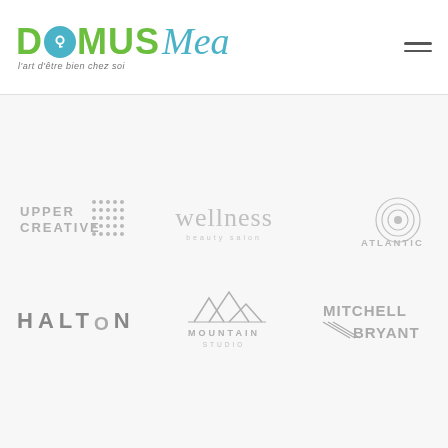[Figure (logo): Domus Mea logo with tagline "l'art d'être bien chez soi" — DOMUS in green bold with a teal keyhole-O, Mea in teal cursive script]
[Figure (logo): Upper Creative logo in gray with dot-grid pattern]
[Figure (logo): Wellness beauty salon logo in gray script]
[Figure (logo): Atlantica logo in gray with circular rings]
[Figure (logo): Halton logo in gray bold spaced letters]
[Figure (logo): Mountain Studio logo in gray with mountain peaks icon]
[Figure (logo): Mitchell Bryant logo in gray]